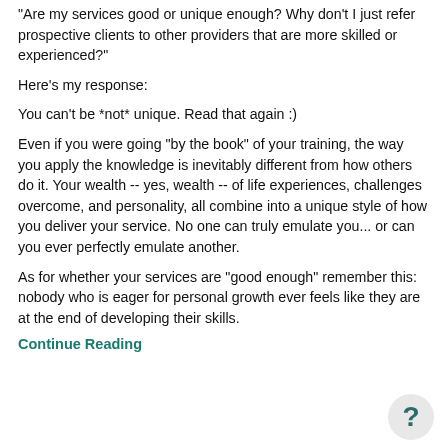"Are my services good or unique enough? Why don't I just refer prospective clients to other providers that are more skilled or experienced?"
Here's my response:
You can't be *not* unique. Read that again :)
Even if you were going "by the book" of your training, the way you apply the knowledge is inevitably different from how others do it. Your wealth -- yes, wealth -- of life experiences, challenges overcome, and personality, all combine into a unique style of how you deliver your service. No one can truly emulate you... or can you ever perfectly emulate another.
As for whether your services are "good enough" remember this: nobody who is eager for personal growth ever feels like they are at the end of developing their skills.
Continue Reading